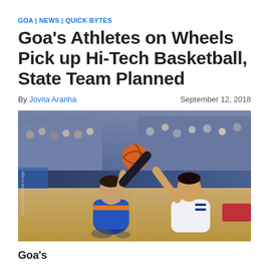GOA | NEWS | QUICK BYTES
Goa's Athletes on Wheels Pick up Hi-Tech Basketball, State Team Planned
By Jovita Aranha    September 12, 2018
[Figure (photo): Wheelchair basketball players in action on an indoor court. A player in a blue and orange jersey is shooting the ball while another player in white with a Thai flag patch reaches to block. A large crowd watches in the background.]
Goa's